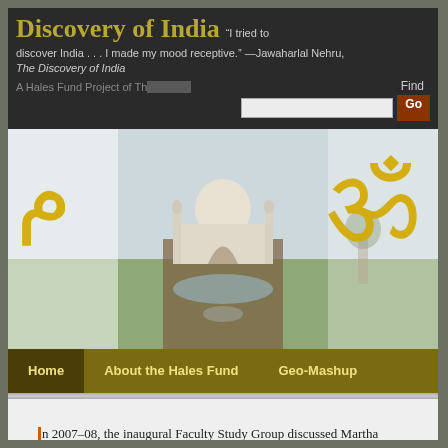Discovery of India — "I tried to discover India . . . I made my mood receptive." —Jawaharlal Nehru, The Discovery of India | A Hales Fund Project of Th[e...]
[Figure (photo): Hero banner showing the Taj Mahal reflected in a long pool, with large golden Arabic/Urdu script on the left and golden Om symbol on the right overlaid on the image.]
Home | About the Hales Fund | Geo-Mashup
In 2007–08, the inaugural Faculty Study Group discussed Martha Nussbaum's The Clash Within: Democracy, Religious Violence, and India's Future, which examines the rise of Hindu fundamentalism in India and makes more general allusions to the